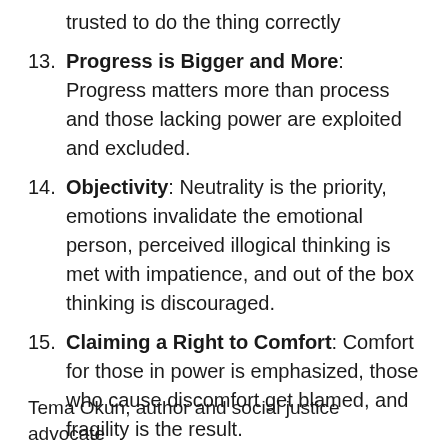trusted to do the thing correctly
Progress is Bigger and More: Progress matters more than process and those lacking power are exploited and excluded.
Objectivity: Neutrality is the priority, emotions invalidate the emotional person, perceived illogical thinking is met with impatience, and out of the box thinking is discouraged.
Claiming a Right to Comfort: Comfort for those in power is emphasized, those who cause discomfort get blamed, and fragility is the result.
Tema Okun, author and social justice advocate